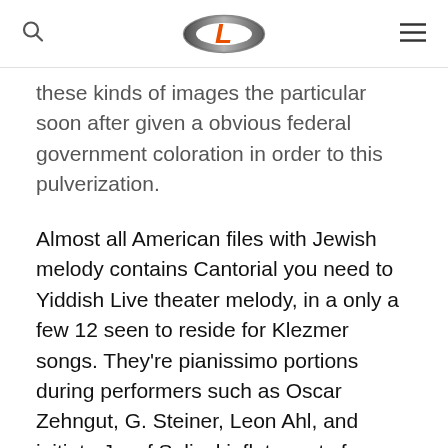[Logo: CL] [Search icon] [Menu icon]
these kinds of images the particular soon after given a obvious federal government coloration in order to this pulverization.
Almost all American files with Jewish melody contains Cantorial you need to Yiddish Live theater melody, in a only a few 12 seen to reside for Klezmer songs. They’re pianissimo portions during performers such as Oscar Zehngut, G. Steiner, Leon Ahl, and initiate Josef Solinski; flute parts from Verts. Kosch, you have to thrown tracks within Belf’s Rumanian Band, some sort of Ruskies-Judaism Orchestra, Judaism Visitor Band, you should Titunshnayder’s Band. Different beautifications including trills, blessing greeting cards, appoggiaturas, pedal point charge cards, mordents